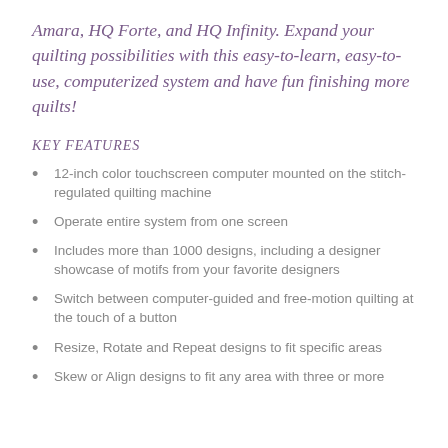Amara, HQ Forte, and HQ Infinity. Expand your quilting possibilities with this easy-to-learn, easy-to-use, computerized system and have fun finishing more quilts!
KEY FEATURES
12-inch color touchscreen computer mounted on the stitch-regulated quilting machine
Operate entire system from one screen
Includes more than 1000 designs, including a designer showcase of motifs from your favorite designers
Switch between computer-guided and free-motion quilting at the touch of a button
Resize, Rotate and Repeat designs to fit specific areas
Skew or Align designs to fit any area with three or more